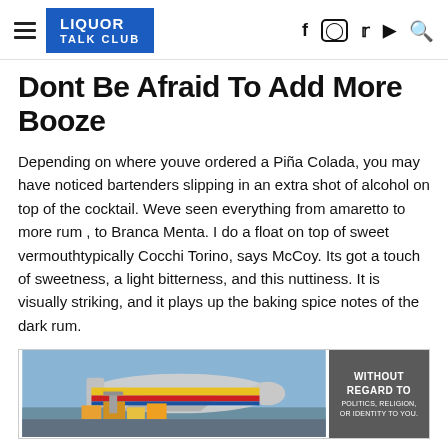LIQUOR TALK CLUB
Dont Be Afraid To Add More Booze
Depending on where youve ordered a Piña Colada, you may have noticed bartenders slipping in an extra shot of alcohol on top of the cocktail. Weve seen everything from amaretto to more rum , to Branca Menta. I do a float on top of sweet vermouthtypically Cocchi Torino, says McCoy. Its got a touch of sweetness, a light bitterness, and this nuttiness. It is visually striking, and it plays up the baking spice notes of the dark rum.
[Figure (photo): Advertisement banner showing an airplane being loaded with cargo, with text overlay reading WITHOUT REGARD TO POLITICS, RELIGION, OR IDENTITY TO YOU.]